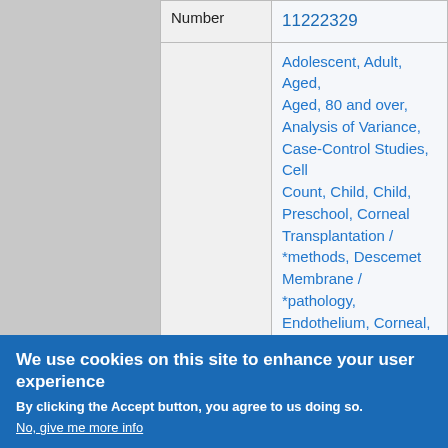| Number | 11222329 |
|  | Adolescent, Adult, Aged, Aged, 80 and over, Analysis of Variance, Case-Control Studies, Cell Count, Child, Child, Preschool, Corneal Transplantation / *methods, Descemet Membrane / *pathology, Endothelium, Corneal, Female, Fuchs' Endothelial Dystrophy / ... |
We use cookies on this site to enhance your user experience
By clicking the Accept button, you agree to us doing so.
No, give me more info